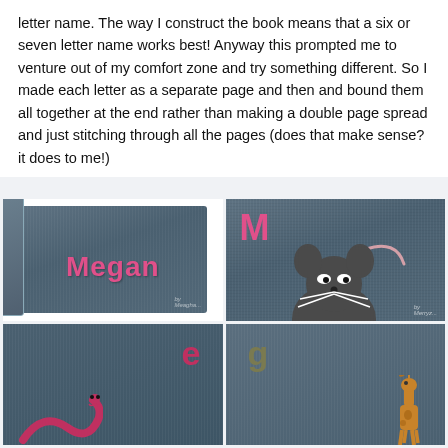letter name. The way I construct the book means that a six or seven letter name works best! Anyway this prompted me to venture out of my comfort zone and try something different. So I made each letter as a separate page and then and bound them all together at the end rather than making a double page spread and just stitching through all the pages (does that make sense? it does to me!)
[Figure (photo): Four photos of handmade denim fabric books/pages for a child named Megan. Top-left: cover of the book showing the name 'Megan' in pink letters on denim. Top-right: denim page with pink letter 'M' and an appliqué mouse. Bottom-left: denim page with red letter 'e' and a snake shape. Bottom-right: denim page with olive letter 'g' and a giraffe figure.]